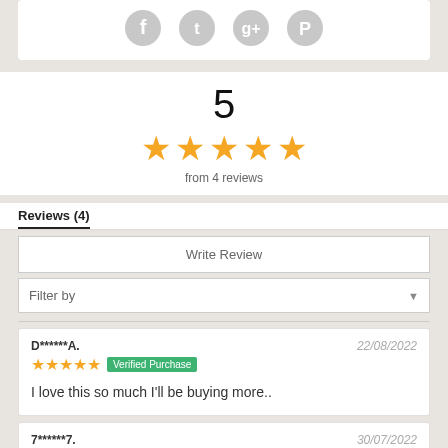[Figure (other): Social media icons: Facebook, Twitter, Google+, Pinterest]
5
[Figure (other): 5 gold stars rating]
from 4 reviews
Reviews (4)
Write Review
Filter by
D******A.
22/08/2022
★★★★★ Verified Purchase

I love this so much I'll be buying more..
7******7.
30/07/2022
★★★★★ Verified Purchase

perfect